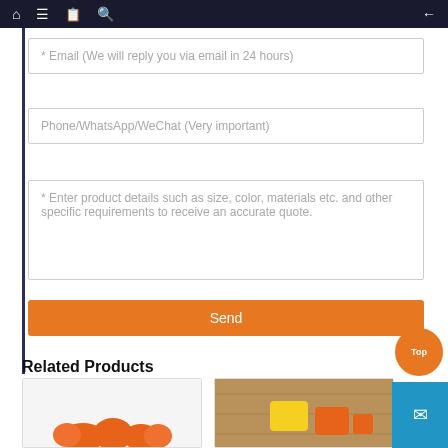Navigation bar with home, menu, card, search icons and back arrow
* Email (We will reply you via email in 24 hours)
Phone/WhatsApp/WeChat (Very important)
* Enter product details such as size, color, materials etc. and other specific requirements to receive an accurate quote.
Send
Related Products
[Figure (photo): Product card showing orange carrot-shaped items on white background]
[Figure (photo): Product card showing yellow and orange eraser-like items on wooden background]